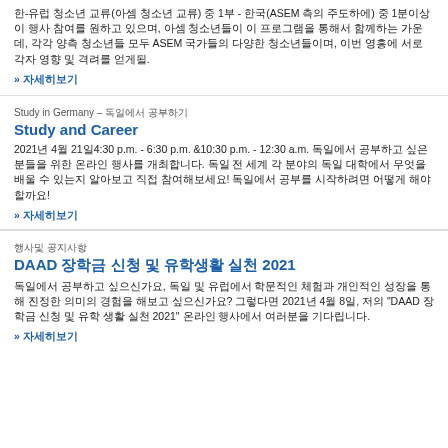한-유럽 청소년 교류(아셈 청소년 교류) 중 1부 - 한국(ASEM 측의 주도하에) 중 1분이상 이 행사 참여를 원하고 있으며, 아셈 청소년들이 이 프로그램을 통해서 함께하는 가운데, 각각 양측 청소년들 모두 ASEM 국가들의 다양한 청소년들이며, 이번 영흥에 서로 각자 영향 및 격려를 얻게될.
» 자세히보기
Study in Germany – 독일에서 공부하기
Study and Career
2021년 4월 21일4:30 p.m. - 6:30 p.m. &10:30 p.m. - 12:30 a.m. 독일에서 공부하고 싶은 분들을 위한 온라인 행사를 개최합니다. 독일 전 세계 각 분야의 독일 대학에서 무엇을 배울 수 있는지 알아보고 직접 참여해보세요!   독일에서 공부를 시작하려면 어떻게 해야할까요!
» 자세히보기
행사및 공지사항
DAAD 장학금 신청 및 유학생활 실천 2021
독일에서 공부하고 싶으신가요, 독일 및 유럽에서 학문적인 체험과 개인적인 성장을 통해 진정한 의미의 경험을 해보고 싶으신가요?   그렇다면 2021년 4월 8일, 저의 "DAAD 장학금 신청 및 유학 생활 실천 2021" 온라인 행사에서  여러분을 기다립니다.
» 자세히보기